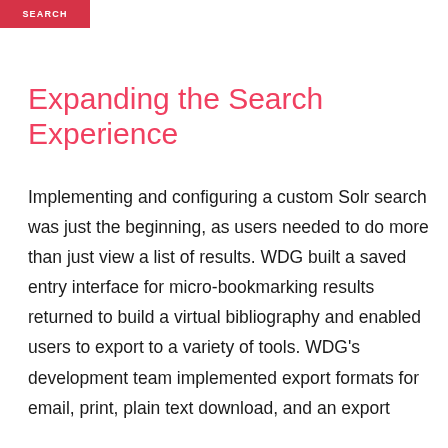SEARCH
Expanding the Search Experience
Implementing and configuring a custom Solr search was just the beginning, as users needed to do more than just view a list of results. WDG built a saved entry interface for micro-bookmarking results returned to build a virtual bibliography and enabled users to export to a variety of tools. WDG's development team implemented export formats for email, print, plain text download, and an export